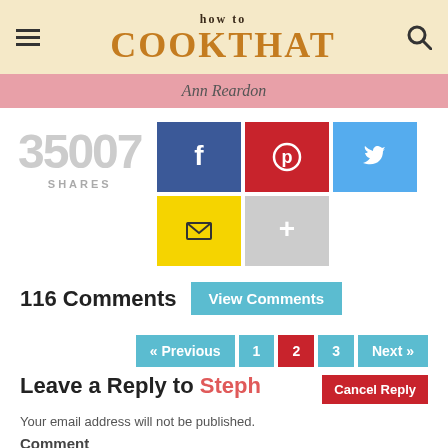how to COOK THAT — Ann Reardon
35007 SHARES
[Figure (infographic): Social share buttons: Facebook, Pinterest, Twitter, Email, More]
116 Comments  View Comments
« Previous  1  2  3  Next »  Cancel Reply
Leave a Reply to Steph
Your email address will not be published.
Comment